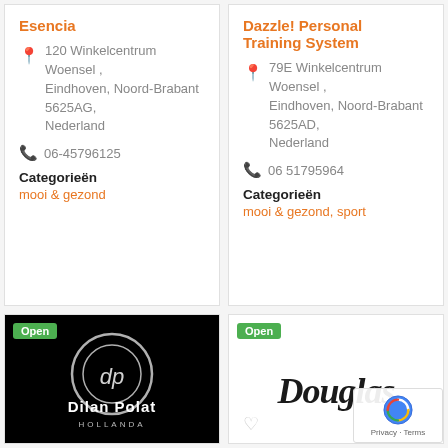Esencia
120 Winkelcentrum Woensel , Eindhoven, Noord-Brabant 5625AG, Nederland
06-45796125
Categorieën
mooi & gezond
Dazzle! Personal Training System
79E Winkelcentrum Woensel , Eindhoven, Noord-Brabant 5625AD, Nederland
06 51795964
Categorieën
mooi & gezond, sport
[Figure (logo): Dilan Polat Hollanda logo on black background with circular dp monogram, Open badge]
[Figure (logo): Douglas script logo on white background, Open badge, heart icon, reCAPTCHA overlay]